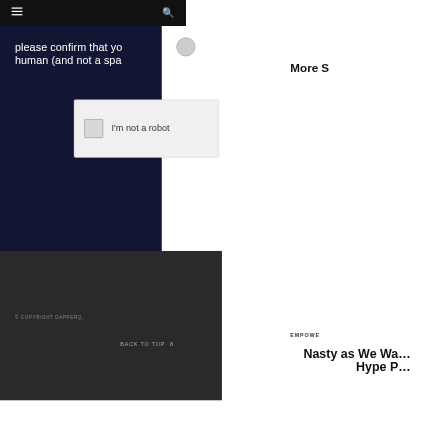≡  🔍
please confirm that you are human (and not a spa…
[Figure (screenshot): reCAPTCHA logo circle button]
I'm not a robot
More S
© COPYRIGHT DAPPERQ,
BACK TO TOP ∧
EMPOWE
Nasty as We Wa… Hype P…